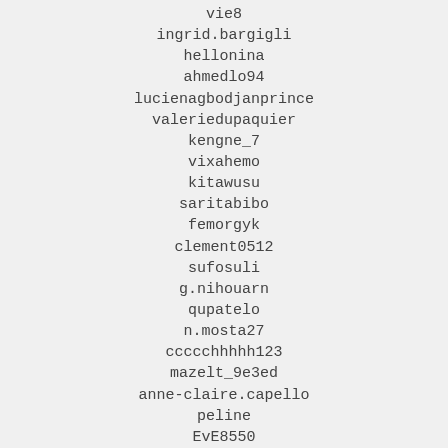vie8
ingrid.bargigli
hellonina
ahmedlo94
lucienagbodjanprince
valeriedupaquier
kengne_7
vixahemo
kitawusu
saritabibo
femorgyk
clement0512
sufosuli
g.nihouarn
qupatelo
n.mosta27
ccccchhhhh123
mazelt_9e3ed
anne-claire.capello
peline
EvE8550
meylan
math.martinod
boukije
t...15333